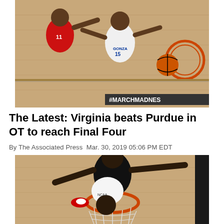[Figure (photo): Aerial/overhead view of basketball players on a court during March Madness game. One player in red uniform (#11) and a Gonzaga player in white (#6) competing. Basketball visible near hoop. #MARCHMADNES text visible on court graphic.]
The Latest: Virginia beats Purdue in OT to reach Final Four
By The Associated Press Mar. 30, 2019 05:06 PM EDT
[Figure (photo): Overhead view of two basketball players fighting for the ball near the hoop/net during NCAA tournament game.]